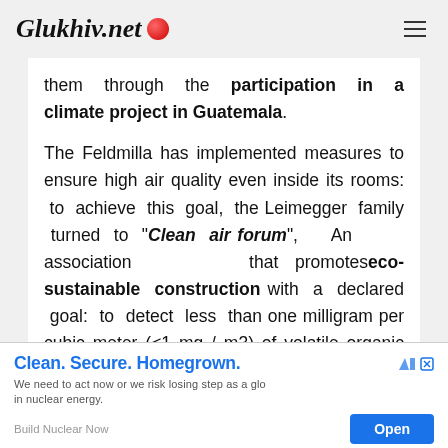Glukhiv.net
them through the participation in a climate project in Guatemala.
The Feldmilla has implemented measures to ensure high air quality even inside its rooms: to achieve this goal, the Leimegger family turned to "Clean air forum", An association that promotes eco-sustainable construction with a declared goal: to detect less than one milligram per cubic meter (<1 mg / m3) of volatile organic compounds in a
[Figure (other): Advertisement banner: Clean. Secure. Homegrown. We need to act now or we risk losing step as a global leader in nuclear energy. Build Nuclear Now. Open button.]